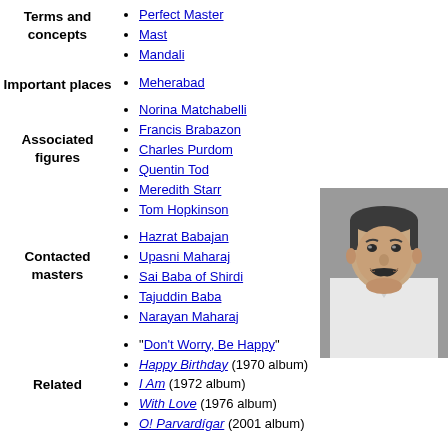Perfect Master
Mast
Mandali
Meherabad
Norina Matchabelli
Francis Brabazon
Charles Purdom
Quentin Tod
Meredith Starr
Tom Hopkinson
[Figure (photo): Black and white portrait photo of a man with a mustache wearing a white shirt]
Hazrat Babajan
Upasni Maharaj
Sai Baba of Shirdi
Tajuddin Baba
Narayan Maharaj
"Don't Worry, Be Happy"
Happy Birthday (1970 album)
I Am (1972 album)
With Love (1976 album)
O! Parvardígar (2001 album)